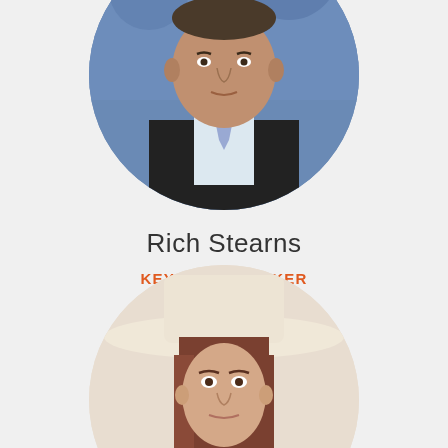[Figure (photo): Circular cropped headshot of Rich Stearns, a man in a dark suit with a light blue tie, photographed against a blue background]
Rich Stearns
KEYNOTE SPEAKER
President, World Vision U.S.
Read More
[Figure (photo): Circular cropped headshot of a woman with long brown hair wearing a wide-brimmed cream/white hat, photographed against a light background]